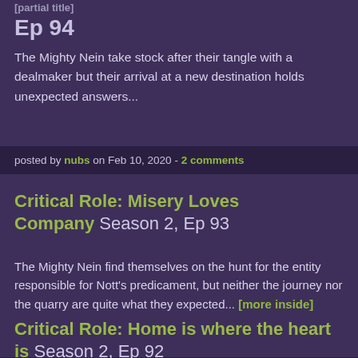Critical Role: [partial title] Season 2, Ep 94
The Mighty Nein take stock after their tangle with a dealmaker but their arrival at a new destination holds unexpected answers...
posted by nubs on Feb 10, 2020 - 2 comments
Critical Role: Misery Loves Company Season 2, Ep 93
The Mighty Nein find themselves on the hunt for the entity responsible for Nott's predicament, but neither the journey nor the quarry are quite what they expected... [more inside]
posted by ourobouros on Feb 3, 2020 - 11 comments
Critical Role: Home is where the heart is Season 2, Ep 92